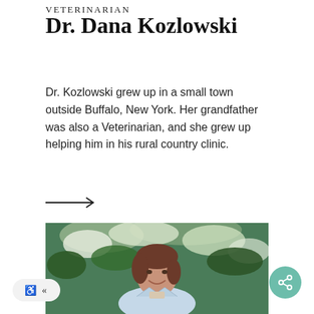VETERINARIAN
Dr. Dana Kozlowski
Dr. Kozlowski grew up in a small town outside Buffalo, New York. Her grandfather was also a Veterinarian, and she grew up helping him in his rural country clinic.
[Figure (other): Arrow pointing right (→), a navigation link element]
[Figure (photo): A woman with brown hair wearing a light blue blazer, smiling outdoors in front of flowering white shrubs and green foliage.]